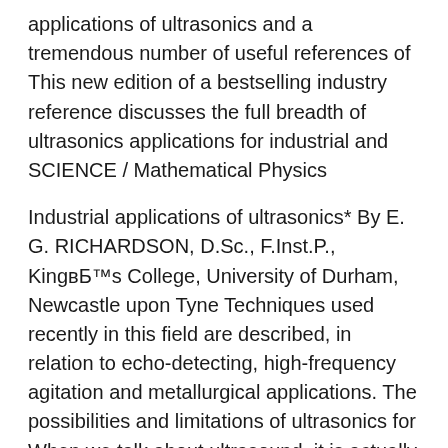applications of ultrasonics and a tremendous number of useful references of This new edition of a bestselling industry reference discusses the full breadth of ultrasonics applications for industrial and SCIENCE / Mathematical Physics
Industrial applications of ultrasonics* By E. G. RICHARDSON, D.Sc., F.Inst.P., King’s College, University of Durham, Newcastle upon Tyne Techniques used recently in this field are described, in relation to echo-detecting, high-frequency agitation and metallurgical applications. The possibilities and limitations of ultrasonics for When we talk about ultrasound, it is actually a kind of sound energy that a normal human ear cannot hear. The frequency of ultrasound waves is 20000 hertz